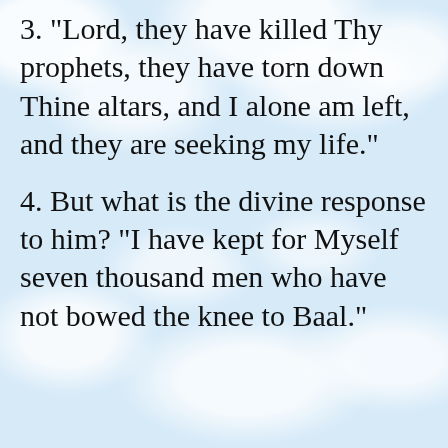3. "Lord, they have killed Thy prophets, they have torn down Thine altars, and I alone am left, and they are seeking my life."
4. But what is the divine response to him? "I have kept for Myself seven thousand men who have not bowed the knee to Baal."